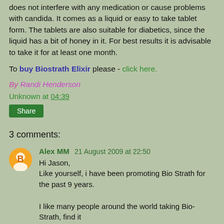does not interfere with any medication or cause problems with candida. It comes as a liquid or easy to take tablet form. The tablets are also suitable for diabetics, since the liquid has a bit of honey in it. For best results it is advisable to take it for at least one month.
To buy Biostrath Elixir please - click here.
By Randi Henderson
Unknown at 04:39
Share
3 comments:
Alex MM 21 August 2009 at 22:50
Hi Jason,
Like yourself, i have been promoting Bio Strath for the past 9 years.

I like many people around the world taking Bio-Strath, find it